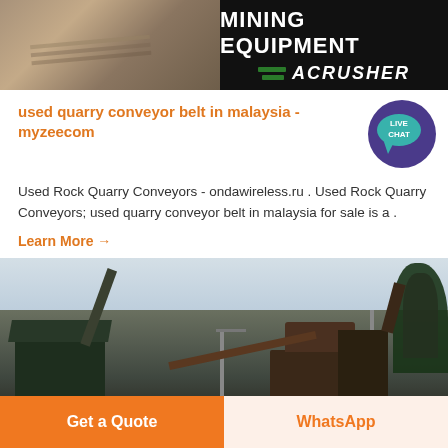[Figure (photo): Mining Equipment banner with ACRUSHER logo. Left half shows a quarry/gravel site photo; right half is black background with bold white text 'MINING EQUIPMENT' and green diagonal stripes with 'ACRUSHER' in italic white text.]
used quarry conveyor belt in malaysia - myzeecom
[Figure (illustration): Live Chat speech bubble icon — teal/purple circle with 'LIVE CHAT' text in white]
Used Rock Quarry Conveyors - ondawireless.ru . Used Rock Quarry Conveyors; used quarry conveyor belt in malaysia for sale is a .
Learn More →
[Figure (photo): Quarry site with industrial conveyor belts, machinery structures, utility poles, mountains and trees in background, overcast sky.]
Get a Quote
WhatsApp